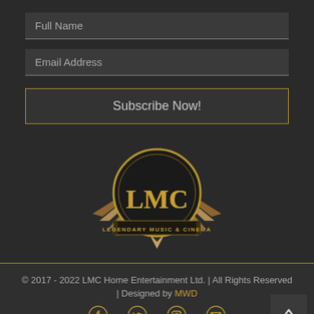Full Name
Email Address
Subscribe Now!
[Figure (logo): LMC Legendary Music & Cinema logo — circular gold/black emblem with art deco style starburst wings, gold letters LMC, banner reading LEGENDARY MUSIC & CINEMA]
© 2017 - 2022 LMC Home Entertainment Ltd. | All Rights Reserved | Designed by MWD
[Figure (infographic): Social media icons: Facebook, Twitter, Instagram, Email envelope, and a back-to-top button with upward chevron]